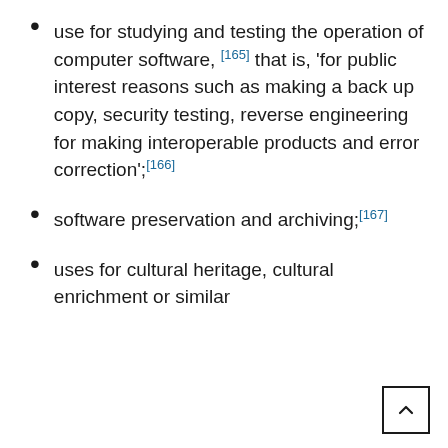use for studying and testing the operation of computer software, [165] that is, 'for public interest reasons such as making a back up copy, security testing, reverse engineering for making interoperable products and error correction';[166]
software preservation and archiving;[167]
uses for cultural heritage, cultural enrichment or similar